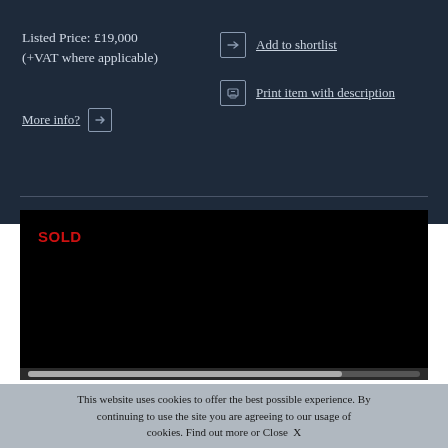Listed Price: £19,000 (+VAT where applicable)
More info?
Add to shortlist
Print item with description
[Figure (photo): Black image area with red SOLD label overlay]
This website uses cookies to offer the best possible experience. By continuing to use the site you are agreeing to our usage of cookies. Find out more or Close  X